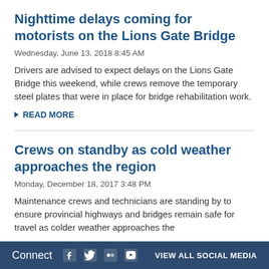Nighttime delays coming for motorists on the Lions Gate Bridge
Wednesday, June 13, 2018 8:45 AM
Drivers are advised to expect delays on the Lions Gate Bridge this weekend, while crews remove the temporary steel plates that were in place for bridge rehabilitation work.
READ MORE
Crews on standby as cold weather approaches the region
Monday, December 18, 2017 3:48 PM
Maintenance crews and technicians are standing by to ensure provincial highways and bridges remain safe for travel as colder weather approaches the
Connect  VIEW ALL SOCIAL MEDIA